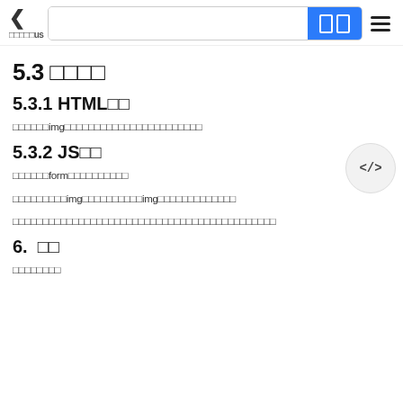◁ □□□□□us  [search bar with blue button]  ≡
5.3 □□□□
5.3.1 HTML□□
□□□□□□img□□□□□□□□□□□□□□□□□□□□□□□
5.3.2 JS□□
□□□□□□form□□□□□□□□□□□□
□□□□□□□□□img□□□□□□□□□□□img□□□□□□□□□□□□□□
□□□□□□□□□□□□□□□□□□□□□□□□□□□□□□□□□□□□□□□□□□□
6.  □□
□□□□□□□□